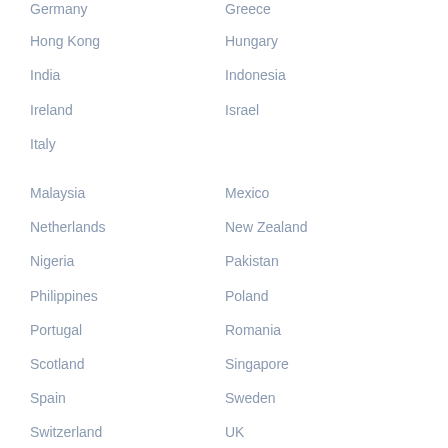Germany
Greece
Hong Kong
Hungary
India
Indonesia
Ireland
Israel
Italy
Malaysia
Mexico
Netherlands
New Zealand
Nigeria
Pakistan
Philippines
Poland
Portugal
Romania
Scotland
Singapore
Spain
Sweden
Switzerland
UK
USA